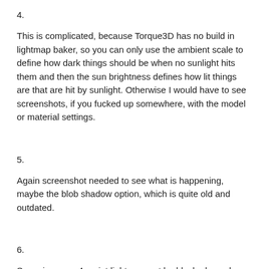4.
This is complicated, because Torque3D has no build in lightmap baker, so you can only use the ambient scale to define how dark things should be when no sunlight hits them and then the sun brightness defines how lit things are that are hit by sunlight. Otherwise I would have to see screenshots, if you fucked up somewhere, with the model or material settings.
5.
Again screenshot needed to see what is happening, maybe the blob shadow option, which is quite old and outdated.
6.
Same issue as 4, point lights cannot be blocked, you have to reduce the radius, or use shadow basting lights, but they use too much resources and are bugged.